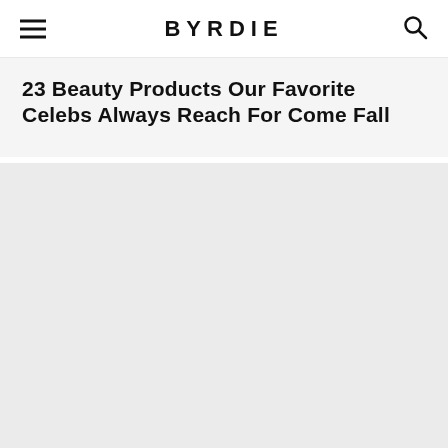BYRDIE
23 Beauty Products Our Favorite Celebs Always Reach For Come Fall
[Figure (photo): Large light gray placeholder image block below the article title]